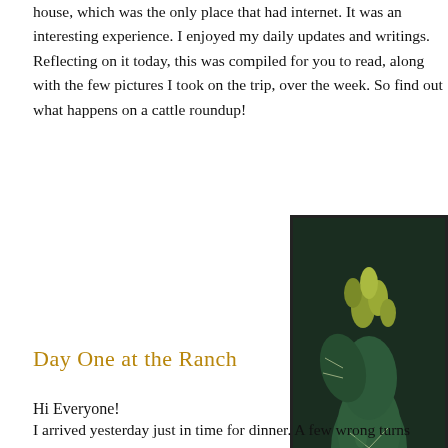house, which was the only place that had internet. It was an interesting experience. I enjoyed my daily updates and writings. Reflecting on it today, this was compiled for you to read, along with the few pictures I took on the trip, over the week. So find out what happens on a cattle roundup!
[Figure (photo): Close-up photograph of a cactus with green pads, spines, and yellow-green buds/flowers against a dark background.]
Day One at the Ranch
Hi Everyone!
I arrived yesterday just in time for dinner. A few wrong turns along the way, but all is well. Now I know to leave a lot of time to get back to the airport, bu